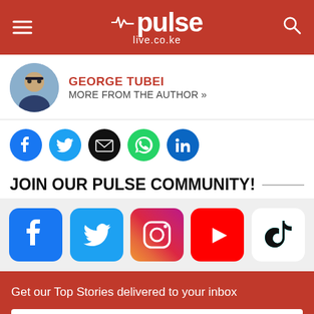pulse live.co.ke
GEORGE TUBEI
MORE FROM THE AUTHOR »
[Figure (infographic): Social share icons: Facebook, Twitter, Email, WhatsApp, LinkedIn]
JOIN OUR PULSE COMMUNITY!
[Figure (infographic): Large social media icons: Facebook, Twitter, Instagram, YouTube, TikTok]
Get our Top Stories delivered to your inbox
Email